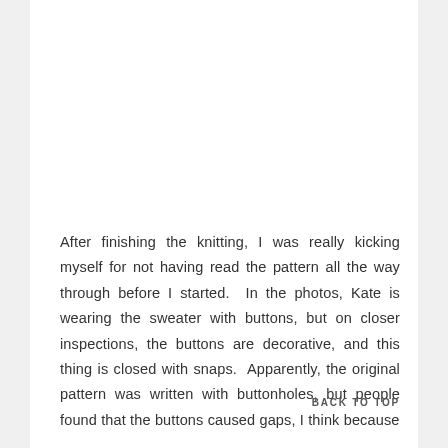After finishing the knitting, I was really kicking myself for not having read the pattern all the way through before I started.  In the photos, Kate is wearing the sweater with buttons, but on closer inspections, the buttons are decorative, and this thing is closed with snaps.  Apparently, the original pattern was written with buttonholes, but people found that the buttons caused gaps, I think because
BACK TO TOP